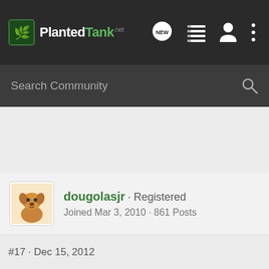PlantedTank
Search Community
dougolasjr · Registered
Joined Mar 3, 2010 · 861 Posts
#17 · Dec 15, 2012